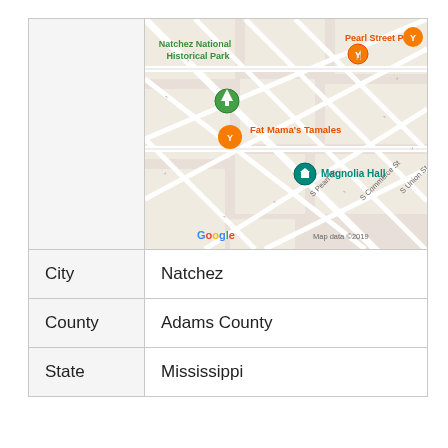[Figure (map): Google Maps view of Natchez, Mississippi showing Natchez National Historical Park, Pearl Street Pasta, Fat Mama's Tamales, Magnolia Hall, S Pearl St, S Commerce St, S Union St. Google logo and 'Map data ©2019' attribution visible.]
| City | Natchez |
| County | Adams County |
| State | Mississippi |